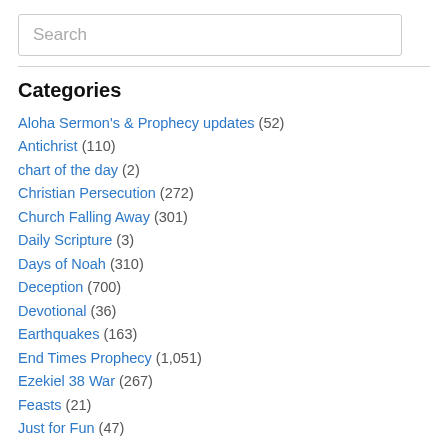Search
Categories
Aloha Sermon's & Prophecy updates (52)
Antichrist (110)
chart of the day (2)
Christian Persecution (272)
Church Falling Away (301)
Daily Scripture (3)
Days of Noah (310)
Deception (700)
Devotional (36)
Earthquakes (163)
End Times Prophecy (1,051)
Ezekiel 38 War (267)
Feasts (21)
Just for Fun (47)